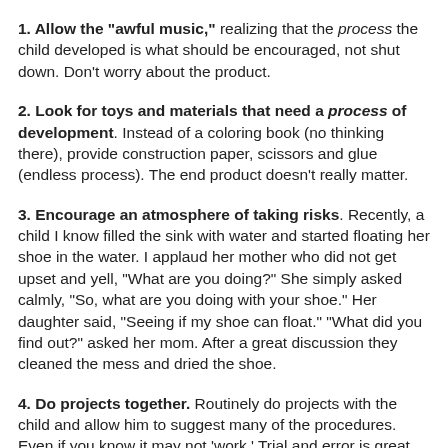1. Allow the "awful music," realizing that the process the child developed is what should be encouraged, not shut down. Don't worry about the product.
2. Look for toys and materials that need a process of development. Instead of a coloring book (no thinking there), provide construction paper, scissors and glue (endless process). The end product doesn't really matter.
3. Encourage an atmosphere of taking risks. Recently, a child I know filled the sink with water and started floating her shoe in the water. I applaud her mother who did not get upset and yell, "What are you doing?" She simply asked calmly, "So, what are you doing with your shoe." Her daughter said, "Seeing if my shoe can float." "What did you find out?" asked her mom. After a great discussion they cleaned the mess and dried the shoe.
4. Do projects together. Routinely do projects with the child and allow him to suggest many of the procedures. Even if you know it may not 'work.' Trial and error is great for